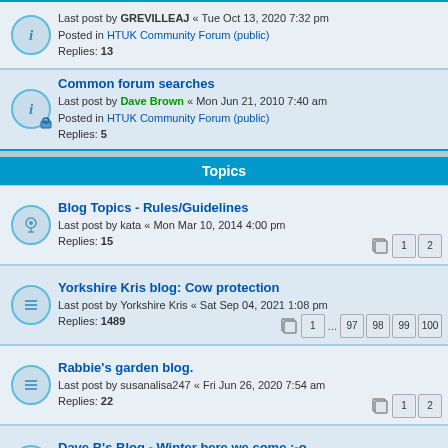Last post by GREVILLEAJ « Tue Oct 13, 2020 7:32 pm
Posted in HTUK Community Forum (public)
Replies: 13
Common forum searches
Last post by Dave Brown « Mon Jun 21, 2010 7:40 am
Posted in HTUK Community Forum (public)
Replies: 5
Topics
Blog Topics - Rules/Guidelines
Last post by kata « Mon Mar 10, 2014 4:00 pm
Replies: 15
Yorkshire Kris blog: Cow protection
Last post by Yorkshire Kris « Sat Sep 04, 2021 1:08 pm
Replies: 1489
Rabbie's garden blog.
Last post by susanalisa247 « Fri Jun 26, 2020 7:54 am
Replies: 22
Dave B's Blog - Winter here we come :-o
Last post by otorongo « Sat Oct 26, 2019 11:54 am
Replies: 315
Karl66 Blog - latest pic's taken this afternoon.
Last post by Dave Brown « Fri Oct 25, 2019 7:31 pm
Replies: 150
My garden history!